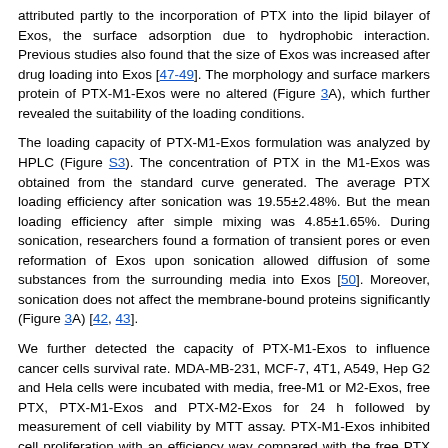attributed partly to the incorporation of PTX into the lipid bilayer of Exos, the surface adsorption due to hydrophobic interaction. Previous studies also found that the size of Exos was increased after drug loading into Exos [47-49]. The morphology and surface markers protein of PTX-M1-Exos were no altered (Figure 3A), which further revealed the suitability of the loading conditions.
The loading capacity of PTX-M1-Exos formulation was analyzed by HPLC (Figure S3). The concentration of PTX in the M1-Exos was obtained from the standard curve generated. The average PTX loading efficiency after sonication was 19.55±2.48%. But the mean loading efficiency after simple mixing was 4.85±1.65%. During sonication, researchers found a formation of transient pores or even reformation of Exos upon sonication allowed diffusion of some substances from the surrounding media into Exos [50]. Moreover, sonication does not affect the membrane-bound proteins significantly (Figure 3A) [42, 43].
We further detected the capacity of PTX-M1-Exos to influence cancer cells survival rate. MDA-MB-231, MCF-7, 4T1, A549, Hep G2 and Hela cells were incubated with media, free-M1 or M2-Exos, free PTX, PTX-M1-Exos and PTX-M2-Exos for 24 h followed by measurement of cell viability by MTT assay. PTX-M1-Exos inhibited cell proliferation with an efficiency way compared with the free PTX group (Figure S4) (Figure S4), however, no significant inhibition effects were observed in the blank-M1-Exos treated group. M2-exosomes promote cancer cells proliferation compared with control, however, the inhibitory effects of PTX-M2-Exos were equal to those of PTX (Figure S5). To further detect the pharmacological impact of PTX encapsulated into M1-Exos, the flow cytometry was used to detect the apoptosis of tumor cells with the treatment of PTX-M1-Exos (Figure 3 B, 3C and S6).